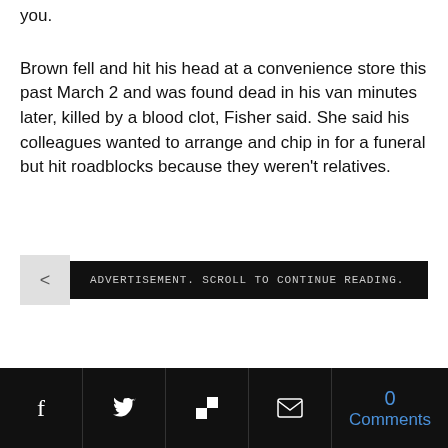you.
Brown fell and hit his head at a convenience store this past March 2 and was found dead in his van minutes later, killed by a blood clot, Fisher said. She said his colleagues wanted to arrange and chip in for a funeral but hit roadblocks because they weren't relatives.
[Figure (screenshot): Black advertisement bar with monospace text reading 'ADVERTISEMENT. SCROLL TO CONTINUE READING.' with a grey arrow/back button on the left side.]
0 Comments [social icons: Facebook, Twitter, Flipboard, Email]